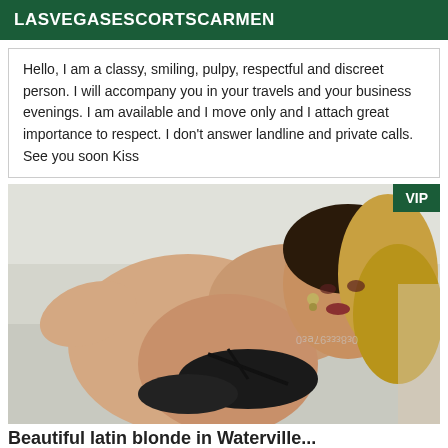LASVEGASESCORTSCARMEN
Hello, I am a classy, smiling, pulpy, respectful and discreet person. I will accompany you in your travels and your business evenings. I am available and I move only and I attach great importance to respect. I don't answer landline and private calls. See you soon Kiss
[Figure (photo): Woman in black lingerie lying on a bed, blonde hair, watermark text visible, VIP badge in top right corner]
Beautiful Latin blonde in Waterville...